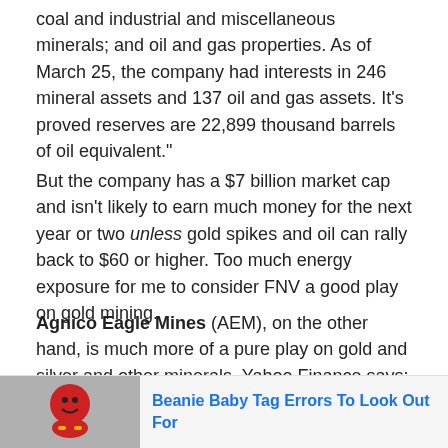coal and industrial and miscellaneous minerals; and oil and gas properties. As of March 25, the company had interests in 246 mineral assets and 137 oil and gas assets. It's proved reserves are 22,899 thousand barrels of oil equivalent."
But the company has a $7 billion market cap and isn't likely to earn much money for the next year or two unless gold spikes and oil can rally back to $60 or higher. Too much energy exposure for me to consider FNV a good play on gold mining.
Agnico Eagle Mines (AEM), on the other hand, is much more of a pure play on gold and silver and other minerals. Yahoo Finance says: "AEM engages in the exploration, development and production of mineral properties. It primarily explores for gold, as well as for silver, copper, zinc and lea
[Figure (photo): Advertisement: Beanie Baby toy image with text 'Beanie Baby Tag Errors To Look Out For']